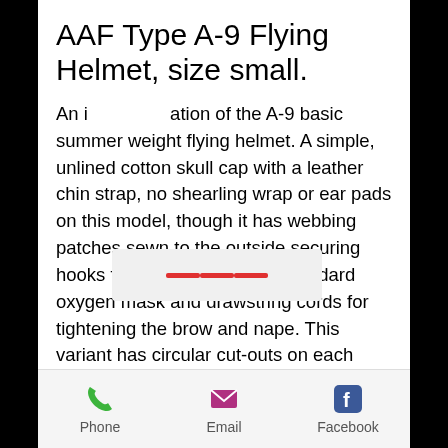AAF Type A-9 Flying Helmet, size small.
An i[menu overlay]ation of the A-9 basic summer weight flying helmet. A simple, unlined cotton skull cap with a leather chin strap, no shearling wrap or ear pads on this model, though it has webbing patches sewn to the outside securing hooks for the A-9 and A-10 Standard oxygen mask and drawstring cords for tightening the brow and nape. This variant has circular cut-outs on each side for installing receivers or Gosport tubes. It is also produced in a more attractive dark green cotton. It also has the addition of webbing tapes with snaps mounted so that a later A-10A or A-14 oxygen mask may be worn. This
Phone  Email  Facebook